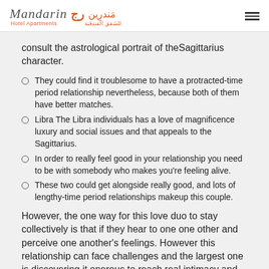Mandarin Hotel Apartments [logo with Arabic text]
consult the astrological portrait of theSagittarius character.
They could find it troublesome to have a protracted-time period relationship nevertheless, because both of them have better matches.
Libra The Libra individuals has a love of magnificence luxury and social issues and that appeals to the Sagittarius.
In order to really feel good in your relationship you need to be with somebody who makes you're feeling alive.
These two could get alongside really good, and lots of lengthy-time period relationships makeup this couple.
However, the one way for this love duo to stay collectively is that if they hear to one one other and perceive one another's feelings. However this relationship can face challenges and the largest one is discovering it onerous to reach real intimacy and